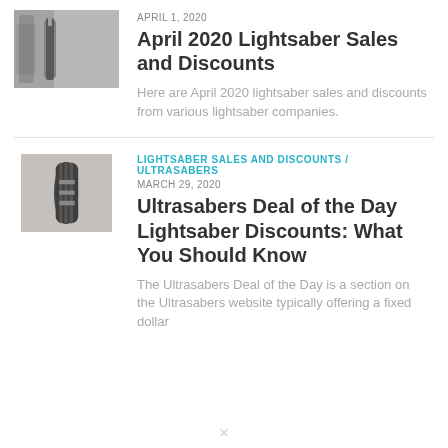[Figure (photo): Thumbnail photo of lightsaber hilt, dark metallic, close-up]
APRIL 1, 2020
April 2020 Lightsaber Sales and Discounts
Here are April 2020 lightsaber sales and discounts from various lightsaber companies.
[Figure (photo): Thumbnail photo of lightsaber hilt resting on fabric surface]
LIGHTSABER SALES AND DISCOUNTS / ULTRASABERS
MARCH 29, 2020
Ultrasabers Deal of the Day Lightsaber Discounts: What You Should Know
The Ultrasabers Deal of the Day is a section on the Ultrasabers website typically offering a fixed dollar